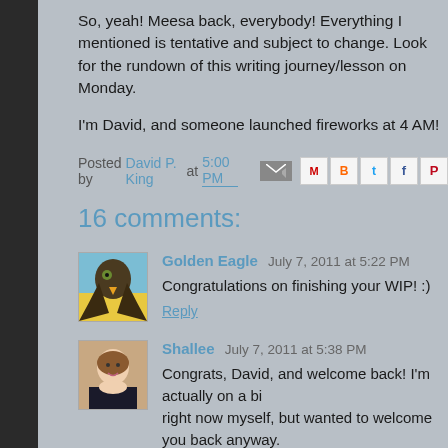So, yeah! Meesa back, everybody! Everything I mentioned is tentative and subject to change. Look for the rundown of this writing journey/lesson on Monday.
I'm David, and someone launched fireworks at 4 AM!
Posted by David P. King at 5:00 PM
16 comments:
Golden Eagle  July 7, 2011 at 5:22 PM
Congratulations on finishing your WIP! :)
Reply
Shallee  July 7, 2011 at 5:38 PM
Congrats, David, and welcome back! I'm actually on a bit of a break right now myself, but wanted to welcome you back anyway.